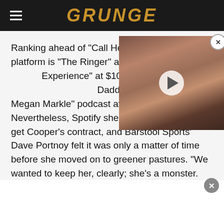GRUNGE
[Figure (photo): Video thumbnail overlay showing a woman with dark hair, with a play button in the center. Has a close (X) button in top right corner.]
Ranking ahead of "Call Her Da" platform is "The Ringer" at $19 Experience" at $100 million, and Daddy" is the "Prince Harry Megan Markle" podcast at $25 million. Nevertheless, Spotify shelled out quite a lot to get Cooper's contract, and Barstool Sports' Dave Portnoy felt it was only a matter of time before she moved on to greener pastures. "We wanted to keep her, clearly; she's a monster. She was always going to make millions, she